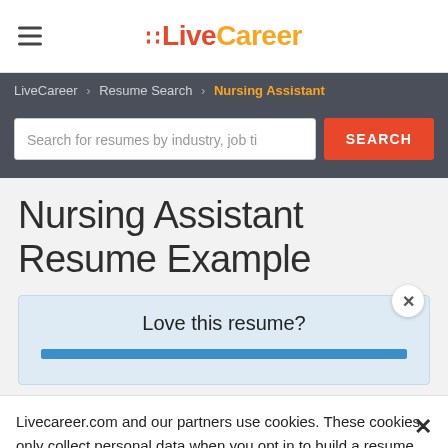LiveCareer
LiveCareer > Resume Search > Nursing Assistant
Search for resumes by industry, job ti
Nursing Assistant Resume Example
Love this resume?
Livecareer.com and our partners use cookies. These cookies only collect personal data when you opt in to build a resume and cover letter. Learn more